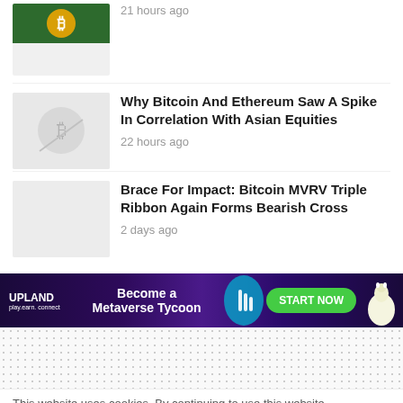[Figure (photo): Thumbnail image with Bitcoin coin on green background, partially visible at top]
21 hours ago
Why Bitcoin And Ethereum Saw A Spike In Correlation With Asian Equities
[Figure (photo): Thumbnail image with Bitcoin symbol and chart graphic on light gray background]
22 hours ago
Brace For Impact: Bitcoin MVRV Triple Ribbon Again Forms Bearish Cross
[Figure (photo): Gray placeholder thumbnail]
2 days ago
[Figure (infographic): Upland advertisement banner: Become a Metaverse Tycoon with START NOW button]
This website uses cookies. By continuing to use this website
Ad TOP STORY: Tamadoge 100k Giveaway - LIVE NOW ENTER NOW